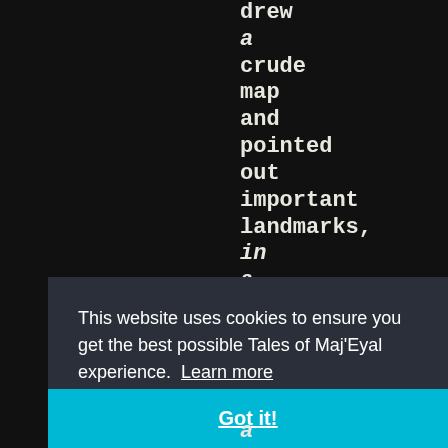drew a crude map and pointed out important landmarks, in a voice one …
This website uses cookies to ensure you get the best possible Tales of Maj'Eyal experience. Learn more
Got it!
a